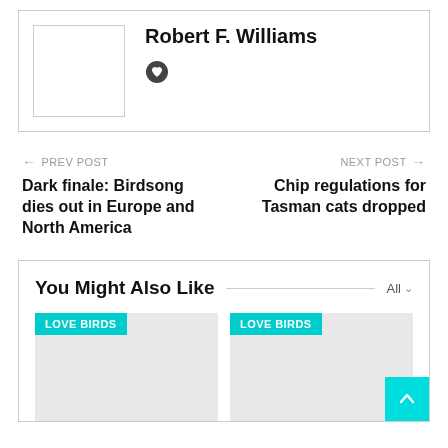Robert F. Williams
PREV POST
Dark finale: Birdsong dies out in Europe and North America
NEXT POST
Chip regulations for Tasman cats dropped
You Might Also Like
[Figure (other): LOVE BIRDS card placeholder image (gray rectangle)]
[Figure (other): LOVE BIRDS card placeholder image (gray rectangle)]